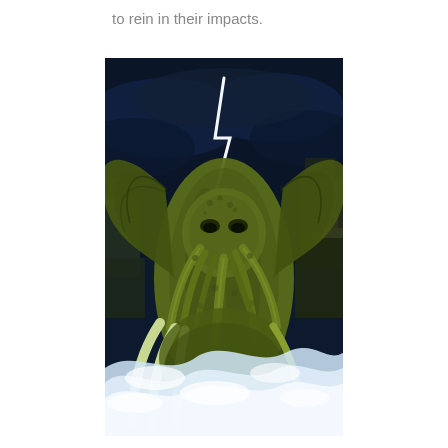to rein in their impacts.
[Figure (illustration): A detailed fantasy illustration of Cthulhu, a tentacled cosmic monster with large wings, rising from turbulent ocean waves. Ancient stone ruins and structures are visible in the background under a dark stormy sky with lightning.]